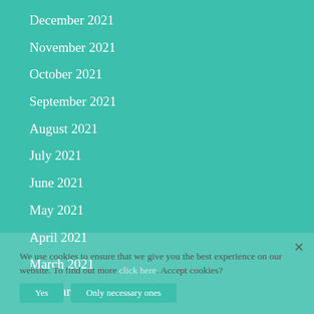December 2021
November 2021
October 2021
September 2021
August 2021
July 2021
June 2021
May 2021
April 2021
March 2021
February 2021
January 2021
July 2020
We use cookies to ensure that we give you the best experience on our website. To find out more click here. Accept cookies?